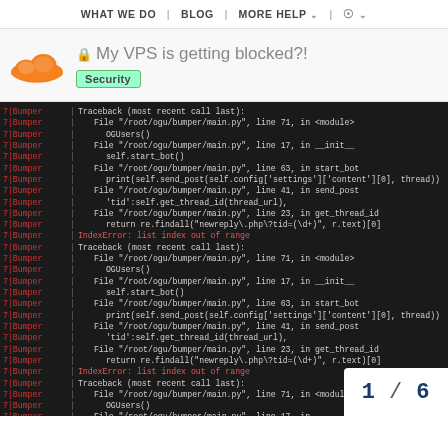WHAT WE DO | BLOG | MORE HELP | (globe)
My VPS is getting blocked?!
Security
[Figure (screenshot): Terminal/console output showing repeated Python traceback errors. Each line is prefixed with '7|Bumper' in red on a dark background. The traceback shows: Traceback (most recent call last): File "/root/ogu/bumper/main.py", line 71, in <module> OGUsers() File "/root/ogu/bumper/main.py", line 17, in __init__ self.start_bot() File "/root/ogu/bumper/main.py", line 63, in start_bot print(self.send_post(self.config['settings']['content'][0], thread)) File "/root/ogu/bumper/main.py", line 41, in send_post 'tid':self.get_thread_id(thread_url), File "/root/ogu/bumper/main.py", line 23, in get_thread_id return re.findall("newreply\.php\?tid=(\d+)", r.text)[0] IndexError: list index out of range. This repeats three times. Page indicator shows 1/6.]